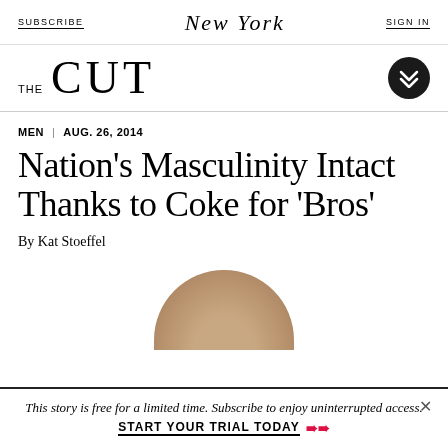SUBSCRIBE | New York | SIGN IN
THE CUT
MEN | AUG. 26, 2014
Nation's Masculinity Intact Thanks to Coke for 'Bros'
By Kat Stoeffel
[Figure (photo): Top of a man's head (cropped), showing short hair, visible from the crown]
This story is free for a limited time. Subscribe to enjoy uninterrupted access. START YOUR TRIAL TODAY »